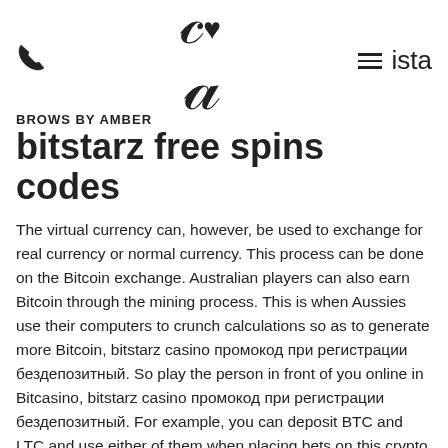Brows by Amber — phone icon, logo, hamburger menu, ista
BROWS BY AMBER
bitstarz free spins codes
The virtual currency can, however, be used to exchange for real currency or normal currency. This process can be done on the Bitcoin exchange. Australian players can also earn Bitcoin through the mining process. This is when Aussies use their computers to crunch calculations so as to generate more Bitcoin, bitstarz casino промокод при регистрации бездепозитный. So play the person in front of you online in Bitcasino, bitstarz casino промокод при регистрации бездепозитный. For example, you can deposit BTC and LTC and use either of them when placing bets on this crypto casino, битстарз казино 888. User: bitstarz ei